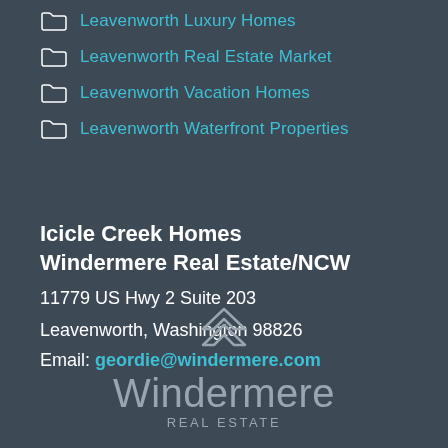Leavenworth Luxury Homes
Leavenworth Real Estate Market
Leavenworth Vacation Homes
Leavenworth Waterfront Properties
Icicle Creek Homes
Windermere Real Estate/NCW
11779 US Hwy 2 Suite 203
Leavenworth, Washington 98826
Email: geordie@windermere.com
[Figure (logo): Windermere Real Estate logo with geometric diamond-like icon above the text 'Windermere REAL ESTATE' in grey]